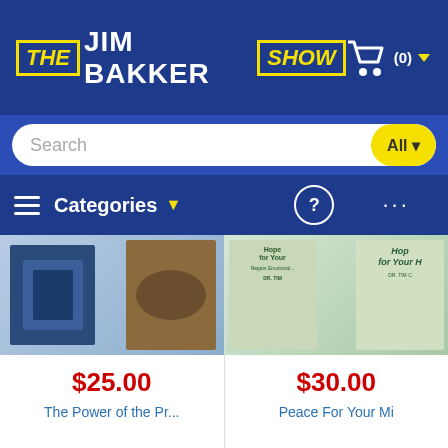[Figure (screenshot): The Jim Bakker Show website header with logo, cart icon, search bar, and navigation bar with Categories menu]
[Figure (photo): Product image for 'The Power of the Pr...' showing a woman and binoculars book covers]
$25.00
The Power of the Pr...
[Figure (photo): Product image for 'Peace For Your Mi' showing book covers by DR. TIM with 'Hope for Your' text]
$30.00
Peace For Your Mi